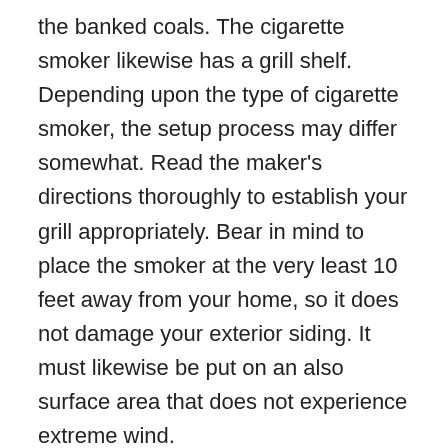the banked coals. The cigarette smoker likewise has a grill shelf. Depending upon the type of cigarette smoker, the setup process may differ somewhat. Read the maker's directions thoroughly to establish your grill appropriately. Bear in mind to place the smoker at the very least 10 feet away from your home, so it does not damage your exterior siding. It must likewise be put on an also surface area that does not experience extreme wind.
When cooking big cuts of meat, a cigarette smoker grill is the very best choice. Its lid remains open while cooking, however can be near keep the food cozy later. You can also include flavorful wood chips to the combination. Apple, hickory, mesquite, as well as whisky drenched timber chips are great choices. With a lot of tastes to choose from, you can get innovative with your